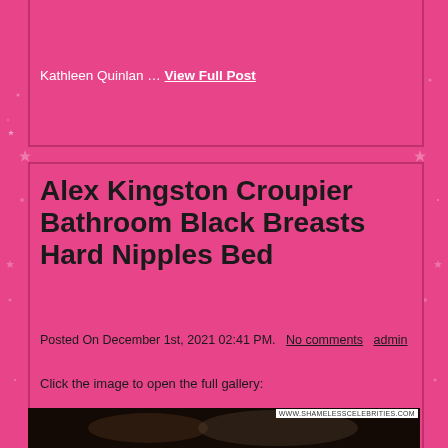[Figure (photo): Dark/dimly lit photo at top of page, partially visible]
Kathleen Quinlan … View Full Post
Alex Kingston Croupier Bathroom Black Breasts Hard Nipples Bed
Posted On December 1st, 2021 02:41 PM.   No comments   admin
Click the image to open the full gallery:
[Figure (photo): Bottom image strip - dark photo with www.shamelesscelebrities.com watermark]